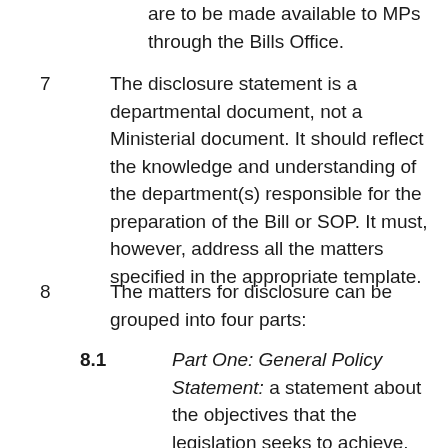are to be made available to MPs through the Bills Office.
7   The disclosure statement is a departmental document, not a Ministerial document. It should reflect the knowledge and understanding of the department(s) responsible for the preparation of the Bill or SOP. It must, however, address all the matters specified in the appropriate template.
8   The matters for disclosure can be grouped into four parts:
8.1   Part One: General Policy Statement: a statement about the objectives that the legislation seeks to achieve, and how it goes